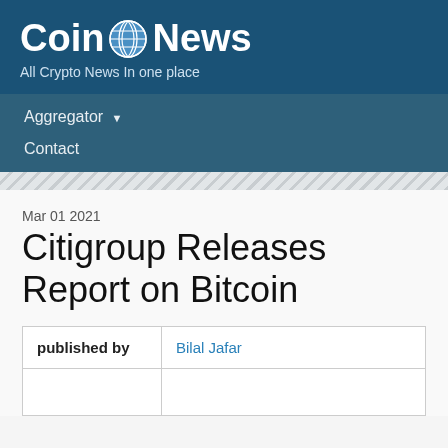Coin News — All Crypto News In one place
Aggregator
Contact
Mar 01 2021
Citigroup Releases Report on Bitcoin
| published by | Bilal Jafar |
| --- | --- |
| published by | Bilal Jafar |
|  |  |